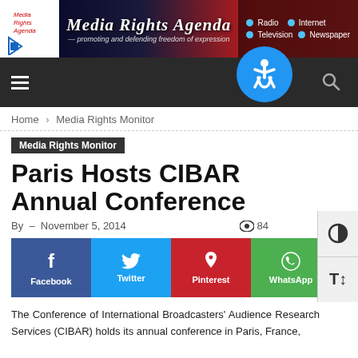[Figure (logo): Media Rights Agenda banner with logo, title, subtitle and navigation links for Radio, Internet, Television, Newspaper]
Media Rights Agenda — promoting and defending freedom of expression
Home › Media Rights Monitor
Media Rights Monitor
Paris Hosts CIBAR Annual Conference
By – November 5, 2014  👁 84
[Figure (infographic): Social sharing buttons: Facebook (blue), Twitter (light blue), Pinterest (red), WhatsApp (green)]
The Conference of International Broadcasters' Audience Research Services (CIBAR) holds its annual conference in Paris, France,